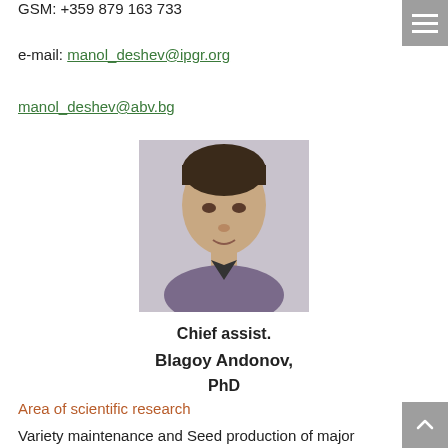GSM: +359 879 163 733
e-mail: manol_deshev@ipgr.org
manol_deshev@abv.bg
[Figure (photo): Headshot photo of Blagoy Andonov, a man in a patterned shirt and tie, light background]
Chief assist.
Blagoy Andonov,
PhD
Area of scientific research
Variety maintenance and Seed production of major crops